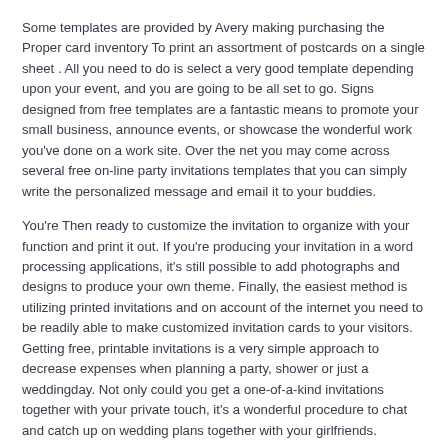Some templates are provided by Avery making purchasing the Proper card inventory To print an assortment of postcards on a single sheet . All you need to do is select a very good template depending upon your event, and you are going to be all set to go. Signs designed from free templates are a fantastic means to promote your small business, announce events, or showcase the wonderful work you've done on a work site. Over the net you may come across several free on-line party invitations templates that you can simply write the personalized message and email it to your buddies.
You're Then ready to customize the invitation to organize with your function and print it out. If you're producing your invitation in a word processing applications, it's still possible to add photographs and designs to produce your own theme. Finally, the easiest method is utilizing printed invitations and on account of the internet you need to be readily able to make customized invitation cards to your visitors. Getting free, printable invitations is a very simple approach to decrease expenses when planning a party, shower or just a weddingday. Not only could you get a one-of-a-kind invitations together with your private touch, it's a wonderful procedure to chat and catch up on wedding plans together with your girlfriends.